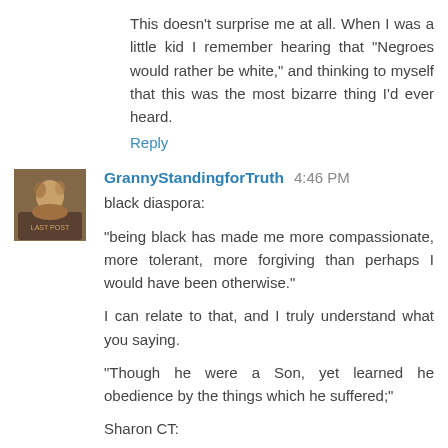This doesn't surprise me at all. When I was a little kid I remember hearing that "Negroes would rather be white," and thinking to myself that this was the most bizarre thing I'd ever heard.
Reply
[Figure (photo): Avatar image for GrannyStandingforTruth]
GrannyStandingforTruth 4:46 PM
black diaspora:

"being black has made me more compassionate, more tolerant, more forgiving than perhaps I would have been otherwise."

I can relate to that, and I truly understand what you saying.

"Though he were a Son, yet learned he obedience by the things which he suffered;"

Sharon CT: